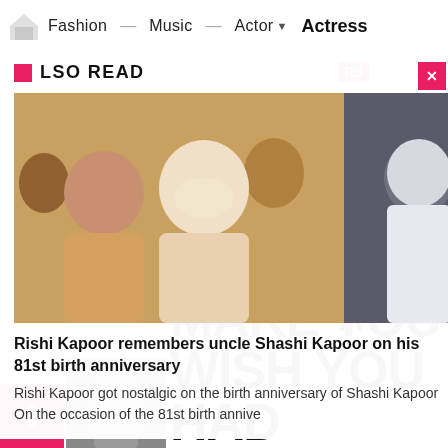Fashion — Music — Actor ▼ Actress
ALSO READ
[Figure (photo): Two photos: left shows an older man and a woman embracing, right shows a man in white kurta]
Rishi Kapoor remembers uncle Shashi Kapoor on his 81st birth anniversary
Rishi Kapoor got nostalgic on the birth anniversary of Shashi Kapoor On the occasion of the 81st birth annive
2019
WILL MAKE YOU WISH YOU HAD